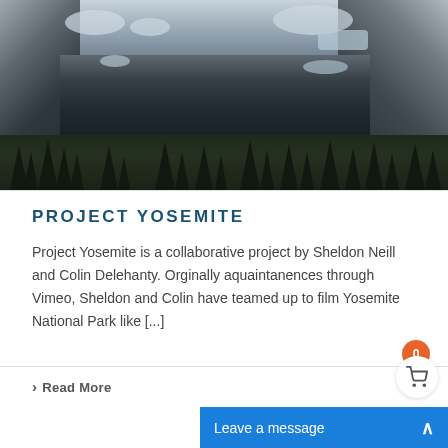[Figure (photo): Aerial/elevated view of Yosemite National Park showing steep granite cliff faces with snow, dark rocky valley walls, and conifer trees at the bottom]
PROJECT YOSEMITE
Project Yosemite is a collaborative project by Sheldon Neill and Colin Delehanty. Orginally aquaintanences through Vimeo, Sheldon and Colin have teamed up to film Yosemite National Park like [...]
› Read More
Leave a message